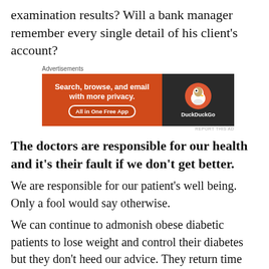examination results? Will a bank manager remember every single detail of his client's account?
[Figure (other): DuckDuckGo advertisement banner: 'Search, browse, and email with more privacy. All in One Free App' on orange background with DuckDuckGo logo on dark background]
The doctors are responsible for our health and it's their fault if we don't get better.
We are responsible for our patient's well being. Only a fool would say otherwise.
We can continue to admonish obese diabetic patients to lose weight and control their diabetes but they don't heed our advice. They return time and time again for more medications, booster shots, investigations, but not with